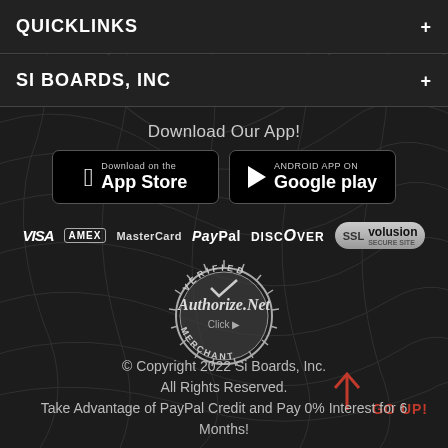QUICKLINKS
SI BOARDS, INC
Download Our App!
[Figure (logo): Download on the App Store button (black with Apple logo)]
[Figure (logo): Android App on Google Play button (black with play triangle)]
[Figure (logo): Payment logos: VISA, AMEX, MasterCard, PayPal, DISCOVER, SSL Volusion Secure Site]
[Figure (logo): Authorize.Net Verified Merchant seal]
GO UP!
© Copyright 2022 Si Boards, Inc.
All Rights Reserved.
Take Advantage of PayPal Credit and Pay 0% Interest for 6 Months!